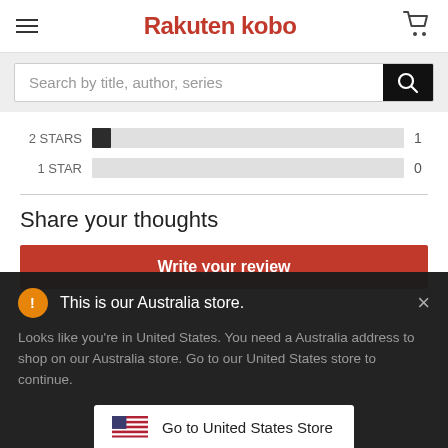Rakuten kobo
Search by title, author, series
2 STARS  1
1 STAR  0
Share your thoughts
Write your review
This is our Australia store.
Looks like you're in United States. You need a Australia address to shop on our Australia store. Go to our United States store to continue.
Go to United States Store
Choose another store